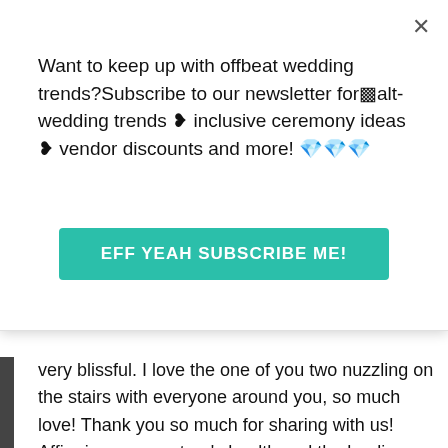Want to keep up with offbeat wedding trends?Subscribe to our newsletter for□alt-wedding trends □ inclusive ceremony ideas □ vendor discounts and more! □□□
[Figure (other): Teal/green subscribe button with text EFF YEAH SUBSCRIBE ME!]
very blissful. I love the one of you two nuzzling on the stairs with everyone around you, so much love! Thank you so much for sharing with us! Affirming your partner's health and the healing happening with friends and family.
[Figure (logo): Offbeat Bride logo — teal bird shape with BRIDE text]
Alphakat says:
Apr 25, 2014 at 11:27 am
Beaming □ Words can't express how happy we were at that moment. Thank you for the affirmation of good health!